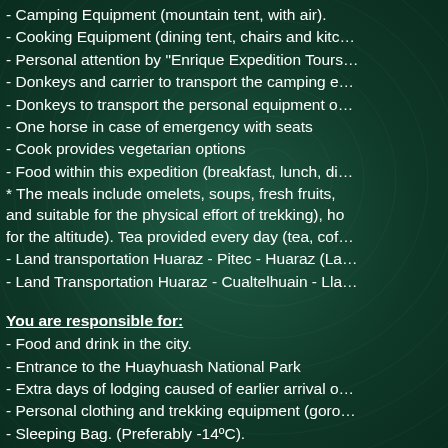- Camping Equipment (mountain tent, with air).
- Cooking Equipment (dining tent, chairs and kitc…
- Personal attention by "Enrique Expedition Tours"…
- Donkeys and carrier to transport the camping e…
- Donkeys to transport the personal equipment of…
- One horse in case of emergency with seats
- Cook provides vegetarian options
- Food within this expedition (breakfast, lunch, di…
* The meals include omelets, soups, fresh fruits, and suitable for the physical effort of trekking), ho for the altitude). Tea provided every day (tea, cof…
- Land transportation Huaraz - Pitec - Huaraz (La…
- Land Transportation Huaraz - Cualtelhuain - Lla…
You are responsible for:
- Food and drink in the city.
- Entrance to the Huayhuash National Park
- Extra days of lodging caused of earlier arrival o…
- Personal clothing and trekking equipment (goro…
- Sleeping Bag. (Preferably -14ºC).